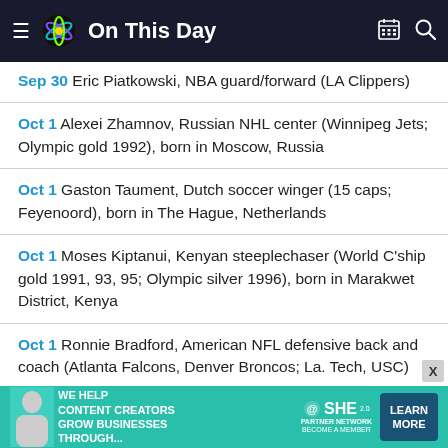On This Day
Sep 30 Eric Piatkowski, NBA guard/forward (LA Clippers)
Oct 1 Alexei Zhamnov, Russian NHL center (Winnipeg Jets; Olympic gold 1992), born in Moscow, Russia
Oct 1 Gaston Taument, Dutch soccer winger (15 caps; Feyenoord), born in The Hague, Netherlands
Oct 1 Moses Kiptanui, Kenyan steeplechaser (World C'ship gold 1991, 93, 95; Olympic silver 1996), born in Marakwet District, Kenya
Oct 1 Ronnie Bradford, American NFL defensive back and coach (Atlanta Falcons, Denver Broncos; La. Tech, USC)
[Figure (infographic): Advertisement banner: SHE Partner Network — We help content creators grow businesses through... Learn More]